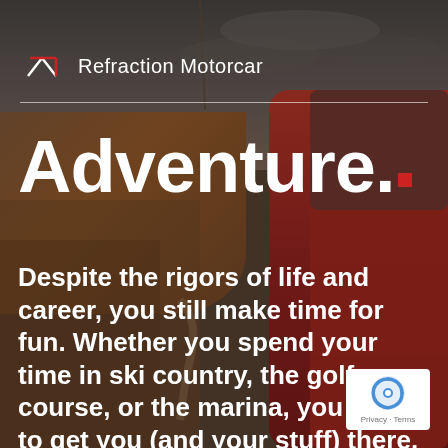[Figure (photo): Background photo of a red vehicle on a mountain road with canyon cliffs and dramatic cloudy sky]
Refraction Motorcar
Adventure.
Despite the rigors of life and career, you still make time for fun. Whether you spend your time in ski country, the golf course, or the marina, you need to get you (and your stuff) there.
[Figure (logo): Google reCAPTCHA badge with Privacy and Terms links]